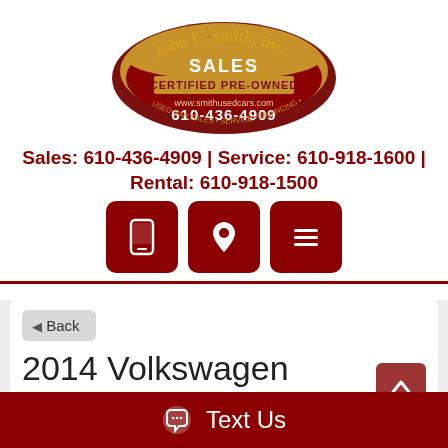[Figure (logo): John L. Smith, Inc. Sales Certified Pre-Owned logo with oval design, gold/brown colors, website www.smithusedcars.com, phone 610-436-4909, Used Car Sales Service Financing Rentals]
Sales: 610-436-4909 | Service: 610-918-1600 | Rental: 610-918-1500
[Figure (infographic): Three dark red rounded square icon buttons: mobile phone icon, map pin/location icon, menu/hamburger icon]
◄ Back
2014 Volkswagen Passat
1.8T Wolfsburg AT
Text Us